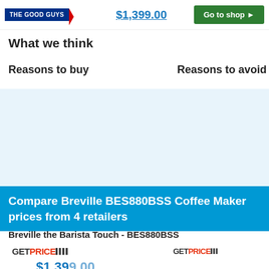[Figure (logo): The Good Guys retailer logo - blue and red rectangular badge]
$1,399.00
[Figure (other): Green 'Go to shop' button with arrow]
What we think
Reasons to buy
Reasons to avoid
[Figure (other): Light blue advertisement/banner area]
Compare Breville BES880BSS Coffee Maker prices from 4 retailers
Breville the Barista Touch - BES880BSS
[Figure (logo): GetPrice logo - left instance]
[Figure (logo): GetPrice logo - right instance]
$1,399.00